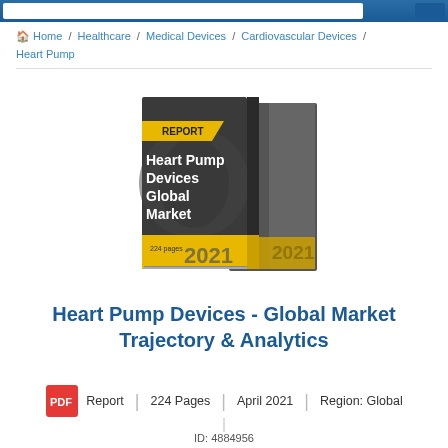Home / Healthcare / Medical Devices / Cardiovascular Devices / Heart Pump
[Figure (illustration): 3D book cover illustration for 'Heart Pump Devices Global Market' report, 2021, 224 pages. Dark grey cover with yellow 'REPORT' banner and yellow bottom band showing '2021'.]
Heart Pump Devices - Global Market Trajectory & Analytics
Report | 224 Pages | April 2021 | Region: Global
ID: 4884956